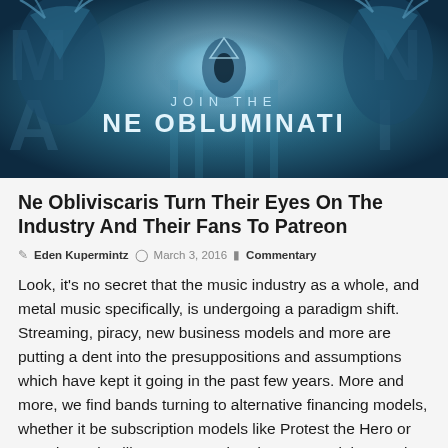[Figure (illustration): Dark blue fantasy banner image with two horned/antlered figures on the sides and a glowing eye/pyramid motif in the center. Text reads 'JOIN THE NE OBLUMINATI' in large white letters.]
Ne Obliviscaris Turn Their Eyes On The Industry And Their Fans To Patreon
Eden Kupermintz  March 3, 2016  Commentary
Look, it's no secret that the music industry as a whole, and metal music specifically, is undergoing a paradigm shift. Streaming, piracy, new business models and more are putting a dent into the presuppositions and assumptions which have kept it going in the past few years. More and more, we find bands turning to alternative financing models, whether it be subscription models like Protest the Hero or crowdsourcing like...too many bands to name right now, but sikTh, Aliases, Painted in Exile and Leprous spring to mind. That being said, what these new models mean and how they